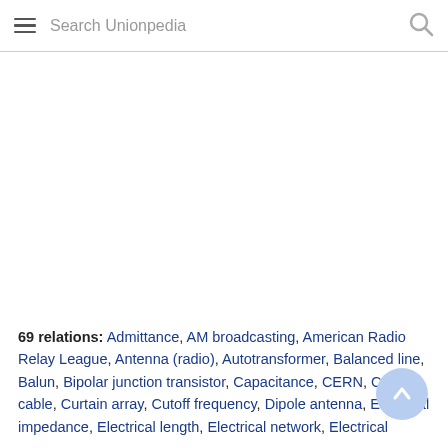Search Unionpedia
69 relations: Admittance, AM broadcasting, American Radio Relay League, Antenna (radio), Autotransformer, Balanced line, Balun, Bipolar junction transistor, Capacitance, CERN, Coaxial cable, Curtain array, Cutoff frequency, Dipole antenna, Electrical impedance, Electrical length, Electrical network, Electrical